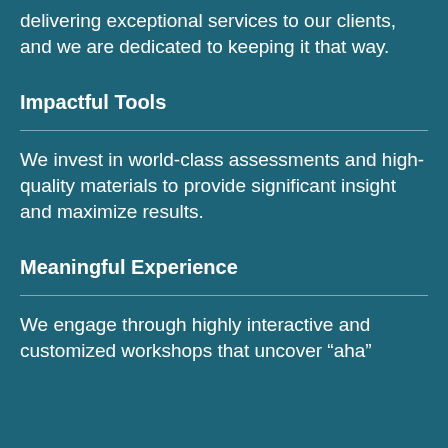delivering exceptional services to our clients, and we are dedicated to keeping it that way.
Impactful Tools
We invest in world-class assessments and high-quality materials to provide significant insight and maximize results.
Meaningful Experience
We engage through highly interactive and customized workshops that uncover “aha”